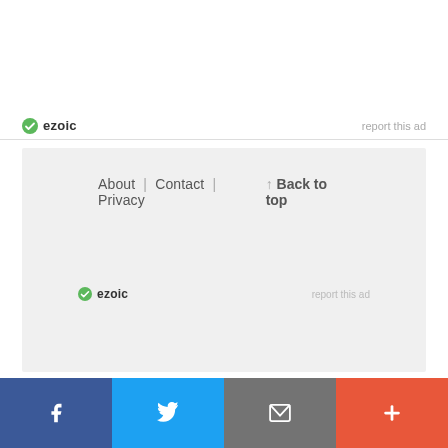[Figure (logo): Ezoic logo with green circular icon and bold text 'ezoic', with 'report this ad' text on the right]
About | Contact | Privacy
↑ Back to top
[Figure (logo): Ezoic logo smaller version inside gray footer box, with 'report this ad' text on the right]
© 2013-2022 CSSScript.com, A jQuery Plugins Subsite. All rights reserved.
[Figure (infographic): Social share bar with 4 buttons: Facebook (blue), Twitter (light blue), Email (gray), More/Plus (orange-red)]